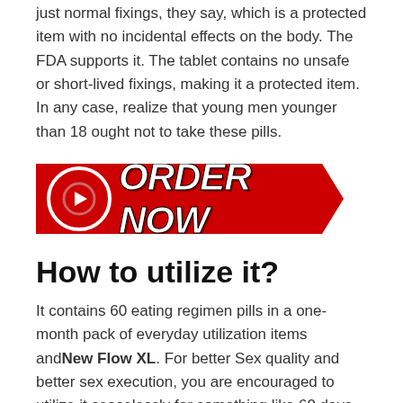just normal fixings, they say, which is a protected item with no incidental effects on the body. The FDA supports it. The tablet contains no unsafe or short-lived fixings, making it a protected item. In any case, realize that young men younger than 18 ought not to take these pills.
[Figure (other): Red arrow-shaped ORDER NOW button with circular arrow icon on the left]
How to utilize it?
It contains 60 eating regimen pills in a one-month pack of everyday utilization items and New Flow XL. For better Sex quality and better sex execution, you are encouraged to utilize it ceaselessly for something like 60 days.